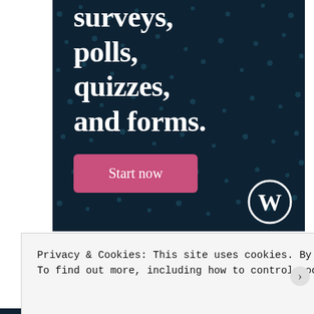[Figure (illustration): Dark navy advertisement banner with scattered teal dot pattern, large white bold serif text reading 'surveys, polls, quizzes, and forms.', a pink 'Start now' button, and a WordPress logo in the bottom right corner.]
Privacy & Cookies: This site uses cookies. By continuing to use this website, you agree to their use.
To find out more, including how to control cookies, see here: Cookie Policy
Close and accept